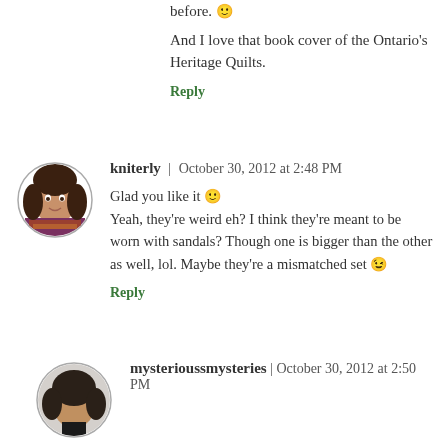before. 🙂 And I love that book cover of the Ontario's Heritage Quilts.
Reply
[Figure (photo): Circular avatar photo of kniterly, a woman with dark hair and a purple/red scarf]
kniterly | October 30, 2012 at 2:48 PM
Glad you like it 🙂 Yeah, they're weird eh? I think they're meant to be worn with sandals? Though one is bigger than the other as well, lol. Maybe they're a mismatched set 😉
Reply
[Figure (photo): Circular avatar photo of mysterioussmysteries, a person with dark hair seen from behind]
mysterioussmysteries | October 30, 2012 at 2:50 PM